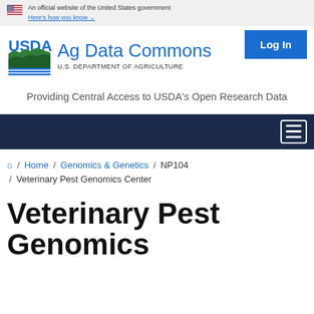An official website of the United States government
Here's how you know
[Figure (logo): USDA logo with green mountain/field graphic and 'USDA' text in blue, plus 'Ag Data Commons' and 'U.S. DEPARTMENT OF AGRICULTURE' text]
Providing Central Access to USDA's Open Research Data
[Figure (other): Dark navy navigation bar with hamburger menu icon on the right]
Home / Genomics & Genetics / NP104 / Veterinary Pest Genomics Center
Veterinary Pest Genomics